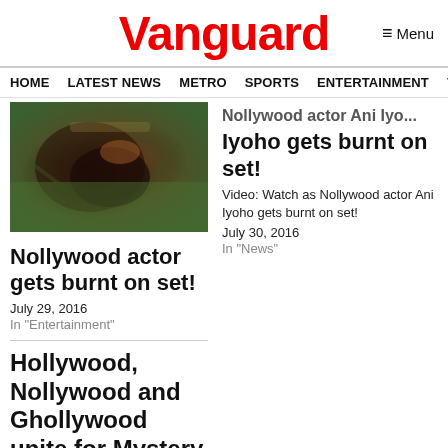Vanguard
Menu
HOME  LATEST NEWS  METRO  SPORTS  ENTERTAINMENT  VIDEOS
[Figure (photo): Close-up photo of a Nollywood actor with burns on set]
Nollywood actor gets burnt on set!
July 29, 2016
In "Entertainment"
Nollywood actor Iyoho gets burnt on set!
Video: Watch as Nollywood actor Ani Iyoho gets burnt on set!
July 30, 2016
In "News"
Hollywood, Nollywood and Ghollywood unite for Mystery Beads
Nollywood is about to witness a true revolution as a London trained Nigerian PR specialist, Egor Efiok, has